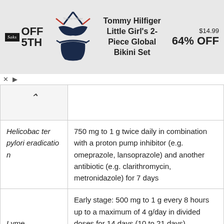[Figure (screenshot): Advertisement banner for Saks OFF 5TH showing Tommy Hilfiger Little Girl's 2-Piece Global Bikini Set at $14.99, 64% OFF]
| Condition | Dosage |
| --- | --- |
| Helicobacter pylori eradication | 750 mg to 1 g twice daily in combination with a proton pump inhibitor (e.g. omeprazole, lansoprazole) and another antibiotic (e.g. clarithromycin, metronidazole) for 7 days |
| Lyme | Early stage: 500 mg to 1 g every 8 hours up to a maximum of 4 g/day in divided doses for 14 days (10 to 21 days) |